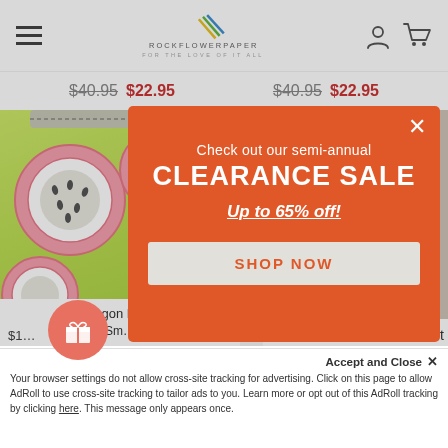ROCKFLOWERPAPER – FOR THE LOVE OF IT ALL
$40.95  $22.95   $40.95  $22.95
[Figure (screenshot): Background product page showing dragon fruit patterned pouch and woman model photo, partially obscured by popup modal]
Check out our semi-annual CLEARANCE SALE Up to 65% off! SHOP NOW
Dragon Fru... Sm...
Accept and Close ✕ Your browser settings do not allow cross-site tracking for advertising. Click on this page to allow AdRoll to use cross-site tracking to tailor ads to you. Learn more or opt out of this AdRoll tracking by clicking here. This message only appears once.